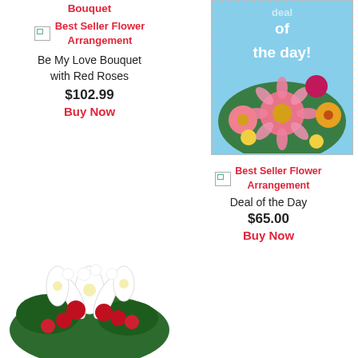Bouquet
[Figure (illustration): Broken image icon with text: Best Seller Flower Arrangement]
Be My Love Bouquet with Red Roses
$102.99
Buy Now
[Figure (photo): Deal of the day flower arrangement photo — colorful pink gerbera daisies, red and yellow flowers with dashed border and 'deal of the day!' text overlay on blue background]
[Figure (illustration): Broken image icon with text: Best Seller Flower Arrangement]
Deal of the Day
$65.00
Buy Now
[Figure (photo): Flower bouquet with white lilies, red roses, red carnations, white daisies and green foliage]